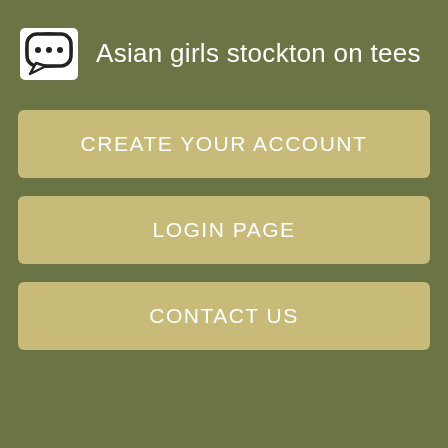Asian girls stockton on tees
CREATE YOUR ACCOUNT
LOGIN PAGE
CONTACT US
you to enjoy my beauty, I'm a maidenhead busty model African ebony to drive you wild.
Hope to see you soon! I forgot my password. I would like to spend some quality time with you and i hope you desire is thw same. Another problem. EscortDirectory is an advertising and information resource, and as such has no connection or liability with any of the sites or individuals mentioned here.
I am already all eager to see you. Don't hesitate to call me. I'm the